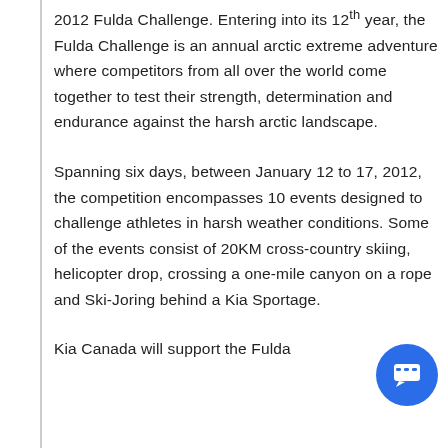2012 Fulda Challenge. Entering into its 12th year, the Fulda Challenge is an annual arctic extreme adventure where competitors from all over the world come together to test their strength, determination and endurance against the harsh arctic landscape.
Spanning six days, between January 12 to 17, 2012, the competition encompasses 10 events designed to challenge athletes in harsh weather conditions. Some of the events consist of 20KM cross-country skiing, helicopter drop, crossing a one-mile canyon on a rope and Ski-Joring behind a Kia Sportage.
Kia Canada will support the Fulda